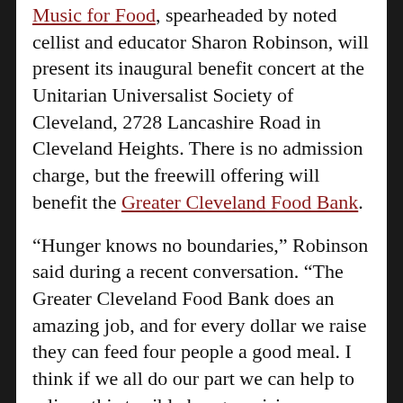Music for Food, spearheaded by noted cellist and educator Sharon Robinson, will present its inaugural benefit concert at the Unitarian Universalist Society of Cleveland, 2728 Lancashire Road in Cleveland Heights. There is no admission charge, but the freewill offering will benefit the Greater Cleveland Food Bank.
“Hunger knows no boundaries,” Robinson said during a recent conversation. “The Greater Cleveland Food Bank does an amazing job, and for every dollar we raise they can feed four people a good meal. I think if we all do our part we can help to relieve this terrible hunger crisis everywhere.”